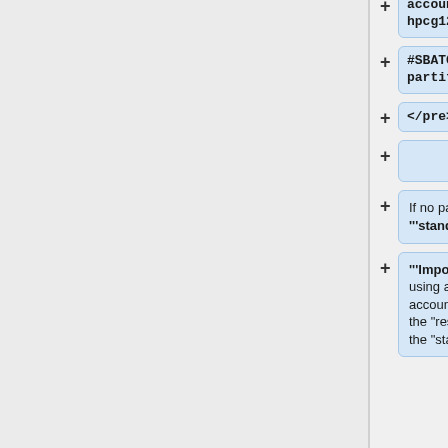account=rac-2017-hpcg1234
#SBATCH --partition=reserved
</pre>
If no partition is specified, '''standard''' is assumed.
'''Important:''' If you are using a "rac-" or "con-" account, you must specify the "reserved" partition, as the "standard" one